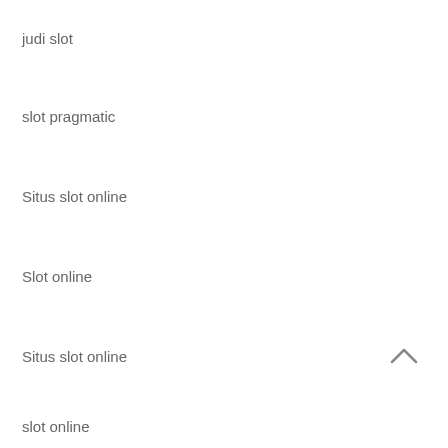judi slot
slot pragmatic
Situs slot online
Slot online
Situs slot online
slot online